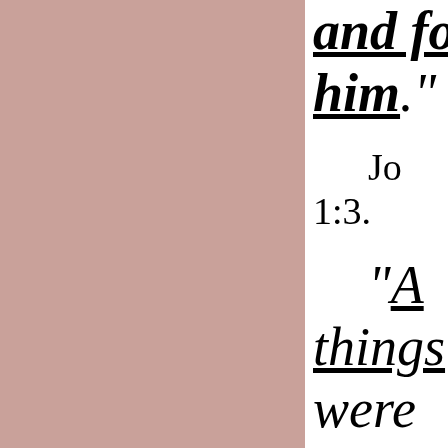and for him." Jo 1:3. "All things were made BY him,